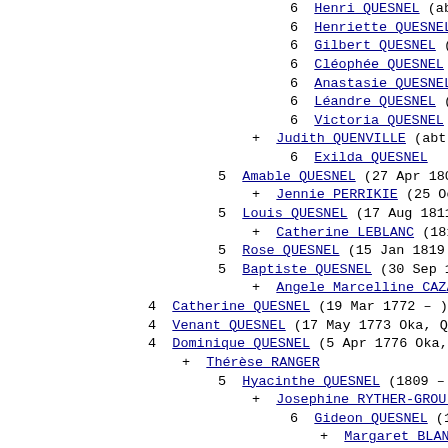6  Henri QUESNEL (abt 1849
6  Henriette QUESNEL (abt 1
6  Gilbert QUESNEL (abt 185
6  Cléophée QUESNEL (abt 18
6  Anastasie QUESNEL (abt 1
6  Léandre QUESNEL (abt 186
6  Victoria QUESNEL (abt 18
+ Judith QUENVILLE (abt 1827
6  Exilda QUESNEL
5  Amable QUESNEL (27 Apr 1809 St
+ Jennie PERRIKIE (25 Oct 181
5  Louis QUESNEL (17 Aug 1811 St
+ Catherine LEBLANC (1812 Hu
5  Rose QUESNEL (15 Jan 1819 Queb
5  Baptiste QUESNEL (30 Sep 1819
+ Angele Marcelline CAZA (181
4  Catherine QUESNEL (19 Mar 1772 - )
4  Venant QUESNEL (17 May 1773 Oka, Que
4  Dominique QUESNEL (5 Apr 1776 Oka,
+ Thérèse RANGER
5  Hyacinthe QUESNEL (1809 - 1 Se
+ Josephine RYTHER-GROULX (18
6  Gideon QUESNEL (1832 -
+ Margaret BLANDAULT
6  Joseph QUESNEL (1836 - 1
+ Margaret DANIELS (Ju
6  Lib QUESNEL (1837 - )
6  Dorcas QUESNEL (1841 -
6  Louis QUESNEL (1845 - )
+ Délia DANIELS (6 May